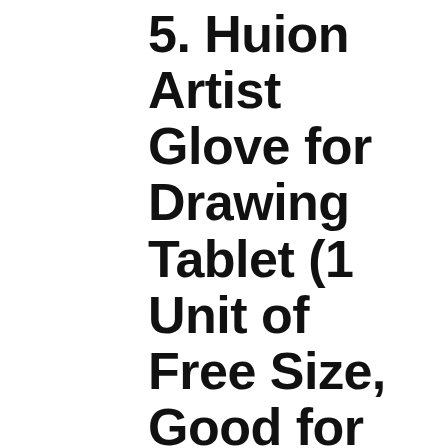5. Huion Artist Glove for Drawing Tablet (1 Unit of Free Size, Good for Right Hand or Left Hand) – Cura CR-01